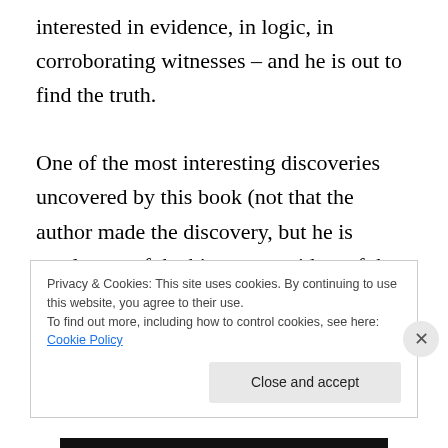interested in evidence, in logic, in corroborating witnesses – and he is out to find the truth.
One of the most interesting discoveries uncovered by this book (not that the author made the discovery, but he is surely one of the biggest providers of the information to the public) is in the field of alien abductions.  The abduction responds to an abductee claiming Jesus' name.  In fact, researchers have
Privacy & Cookies: This site uses cookies. By continuing to use this website, you agree to their use.
To find out more, including how to control cookies, see here: Cookie Policy